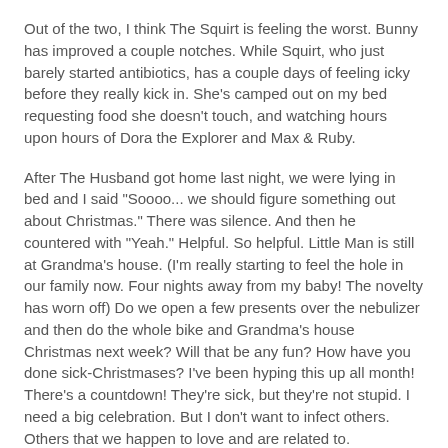Out of the two, I think The Squirt is feeling the worst. Bunny has improved a couple notches. While Squirt, who just barely started antibiotics, has a couple days of feeling icky before they really kick in. She's camped out on my bed requesting food she doesn't touch, and watching hours upon hours of Dora the Explorer and Max & Ruby.
After The Husband got home last night, we were lying in bed and I said "Soooo... we should figure something out about Christmas." There was silence. And then he countered with "Yeah." Helpful. So helpful. Little Man is still at Grandma's house. (I'm really starting to feel the hole in our family now. Four nights away from my baby! The novelty has worn off) Do we open a few presents over the nebulizer and then do the whole bike and Grandma's house Christmas next week? Will that be any fun? How have you done sick-Christmases? I've been hyping this up all month! There's a countdown! They're sick, but they're not stupid. I need a big celebration. But I don't want to infect others. Others that we happen to love and are related to.